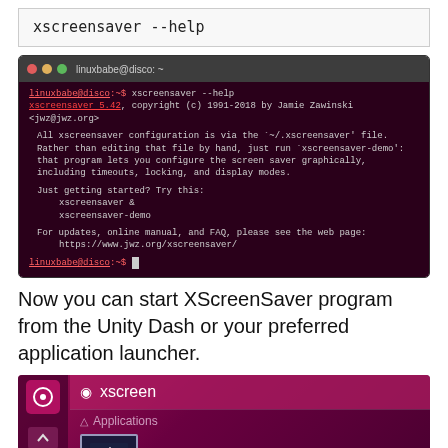[Figure (screenshot): Code box showing command: xscreensaver --help]
[Figure (screenshot): Ubuntu terminal showing xscreensaver --help output with version 5.42, copyright info, configuration instructions, and web page URL]
Now you can start XScreenSaver program from the Unity Dash or your preferred application launcher.
[Figure (screenshot): Unity Dash search showing 'xscreen' query with Applications section and XScreenSaver icon visible]